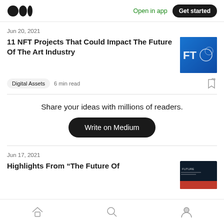Medium logo | Open in app | Get started
Jun 20, 2021
11 NFT Projects That Could Impact The Future Of The Art Industry
Digital Assets  6 min read
Share your ideas with millions of readers.
Write on Medium
Jun 17, 2021
Highlights From “The Future Of
Home | Search | Profile